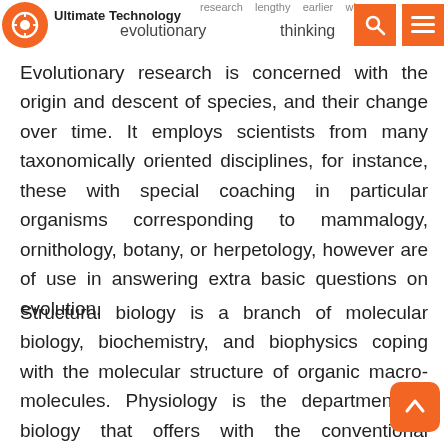Ultimate Technology — evolutionary thinking was common.
Evolutionary research is concerned with the origin and descent of species, and their change over time. It employs scientists from many taxonomically oriented disciplines, for instance, these with special coaching in particular organisms corresponding to mammalogy, ornithology, botany, or herpetology, however are of use in answering extra basic questions on evolution.
Structural biology is a branch of molecular biology, biochemistry, and biophysics coping with the molecular structure of organic macromolecules. Physiology is the department of biology that offers with the conventional functions of living organisms and their